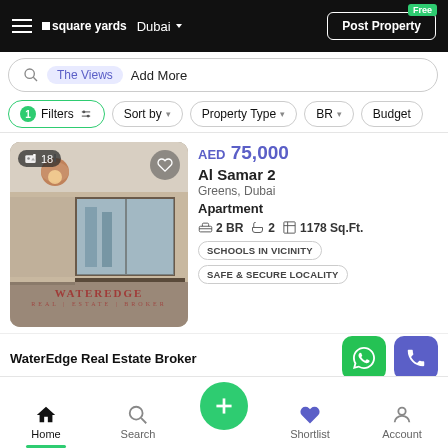square yards — Dubai — Post Property (Free)
The Views  Add More
1 Filters  Sort by  Property Type  BR  Budget
[Figure (photo): Interior photo of an empty apartment room with large sliding glass windows, warm pendant light, and a watermark reading WATEREDGE REAL ESTATE BROKER. Badge showing 18 photos.]
AED 75,000
Al Samar 2
Greens, Dubai
Apartment
2 BR  2  1178 Sq.Ft.
SCHOOLS IN VICINITY  SAFE & SECURE LOCALITY
WaterEdge Real Estate Broker
Home  Search  +  Shortlist  Account